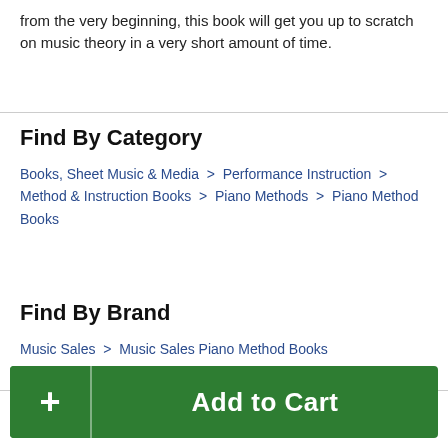from the very beginning, this book will get you up to scratch on music theory in a very short amount of time.
Find By Category
Books, Sheet Music & Media  >  Performance Instruction  >  Method & Instruction Books  >  Piano Methods  >  Piano Method Books
Find By Brand
Music Sales  >  Music Sales Piano Method Books
Add to Cart